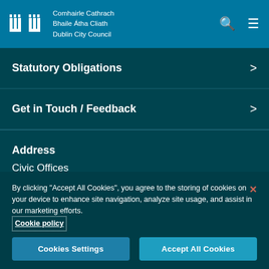Comhairle Cathrach Bhaile Átha Cliath Dublin City Council
Statutory Obligations >
Get in Touch / Feedback >
Address
Civic Offices
Wood Quay
Dublin 8
D08 RF3F
By clicking "Accept All Cookies", you agree to the storing of cookies on your device to enhance site navigation, analyze site usage, and assist in our marketing efforts. Cookie policy
Cookies Settings   Accept All Cookies